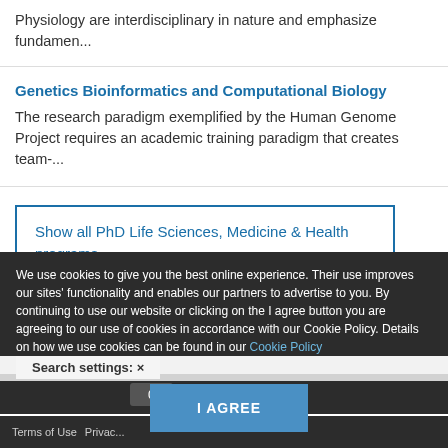Physiology are interdisciplinary in nature and emphasize fundamen...
Genetics Bioinformatics and Computational Biology
The research paradigm exemplified by the Human Genome Project requires an academic training paradigm that creates team-...
Show all PhD Life Sciences, Medicine & Health programs
We use cookies to give you the best online experience. Their use improves our sites' functionality and enables our partners to advertise to you. By continuing to use our website or clicking on the I agree button you are agreeing to our use of cookies in accordance with our Cookie Policy. Details on how we use cookies can be found in our Cookie Policy
Search settings: ×
0
I AGREE
Terms of Use   Privac...